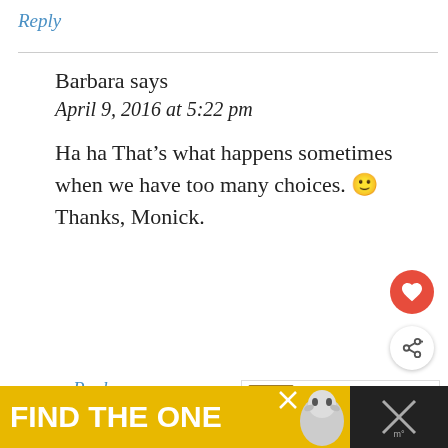Reply
Barbara says
April 9, 2016 at 5:22 pm
Ha ha That’s what happens sometimes when we have too many choices. 🙂 Thanks, Monick.
Reply
[Figure (infographic): FIND THE ONE advertisement banner with dog image, dark background]
[Figure (infographic): Heart (like) button — red circle with white heart icon]
[Figure (infographic): Share button — white circle with share icon]
[Figure (infographic): What's Next panel: Gluten Free Chicken... with food thumbnail]